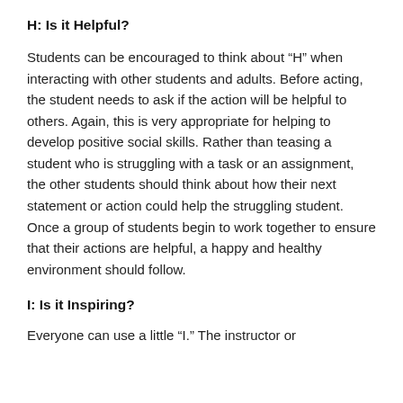H: Is it Helpful?
Students can be encouraged to think about “H” when interacting with other students and adults. Before acting, the student needs to ask if the action will be helpful to others. Again, this is very appropriate for helping to develop positive social skills. Rather than teasing a student who is struggling with a task or an assignment, the other students should think about how their next statement or action could help the struggling student. Once a group of students begin to work together to ensure that their actions are helpful, a happy and healthy environment should follow.
I: Is it Inspiring?
Everyone can use a little “I.” The instructor or